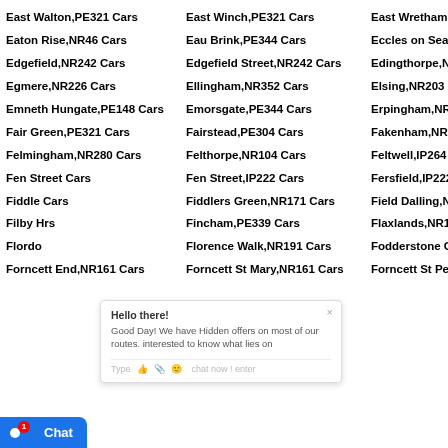East Walton,PE321 Cars
East Winch,PE321 Cars
East Wretham,IP241 Cars
Eaton Rise,NR46 Cars
Eau Brink,PE344 Cars
Eccles on Sea,NR120 Cars
Edgefield,NR242 Cars
Edgefield Street,NR242 Cars
Edingthorpe,NR289 Cars
Egmere,NR226 Cars
Ellingham,NR352 Cars
Elsing,NR203 Cars
Emneth Hungate,PE148 Cars
Emorsgate,PE344 Cars
Erpingham,NR117 Cars
Fair Green,PE321 Cars
Fairstead,PE304 Cars
Fakenham,NR219 Cars
Felmingham,NR280 Cars
Felthorpe,NR104 Cars
Feltwell,IP264 Cars
Fen Street,NR Cars
Fen Street,IP222 Cars
Fersfield,IP222 Cars
Fiddle Cars
Fiddlers Green,NR171 Cars
Field Dalling,NR257 Cars
Filby H Cars
Fincham,PE339 Cars
Flaxlands,NR161 Cars
Flordo
Florence Walk,NR191 Cars
Fodderstone Gap,PE330 Cars
Forncett End,NR161 Cars
Forncett St Mary,NR161 Cars
Forncett St Peter,NR161 Cars